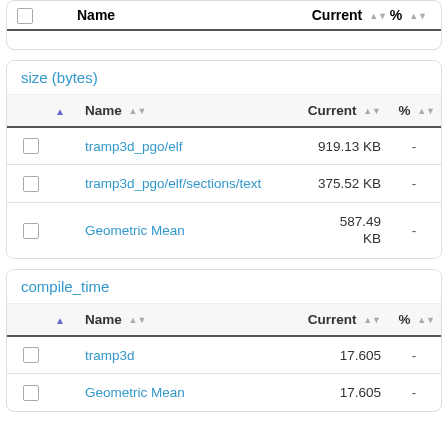|  | Name | Current | % |
| --- | --- | --- | --- |
| ☐ | tramp3d_pgo/elf | 919.13 KB | - |
| ☐ | tramp3d_pgo/elf/sections/text | 375.52 KB | - |
| ☐ | Geometric Mean | 587.49 KB | - |
size (bytes)
compile_time
|  | Name | Current | % |
| --- | --- | --- | --- |
| ☐ | tramp3d | 17.605 | - |
| ☐ | Geometric Mean | 17.605 | - |